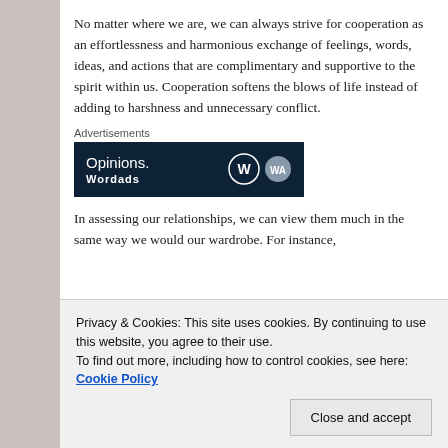No matter where we are, we can always strive for cooperation as an effortlessness and harmonious exchange of feelings, words, ideas, and actions that are complimentary and supportive to the spirit within us. Cooperation softens the blows of life instead of adding to harshness and unnecessary conflict.
Advertisements
[Figure (other): Advertisement banner with dark navy background showing 'Opinions.' text and WordPress logo alongside another circular logo]
In assessing our relationships, we can view them much in the same way we would our wardrobe. For instance,
Privacy & Cookies: This site uses cookies. By continuing to use this website, you agree to their use.
To find out more, including how to control cookies, see here: Cookie Policy